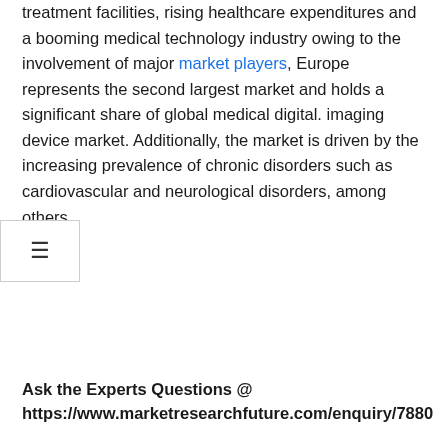treatment facilities, rising healthcare expenditures and a booming medical technology industry owing to the involvement of major market players, Europe represents the second largest market and holds a significant share of global medical digital. imaging device market. Additionally, the market is driven by the increasing prevalence of chronic disorders such as cardiovascular and neurological disorders, among others.
Ask the Experts Questions @ https://www.marketresearchfuture.com/enquiry/7880
Due to the large patient population, faster adoption of healthcare technologies, government measures to improve the quality of healthcare, and the availability of advantageous insurance schemes, Asia-Pacific expected to be the fastest growing region. Moreover, owing to the lower cost of clinical trials, research majors have developed regional headquarters and manufacturing plants in Singapore, China, Japan, Korea, and Australia, indicating that the device market digital medical imaging will develop positively in the